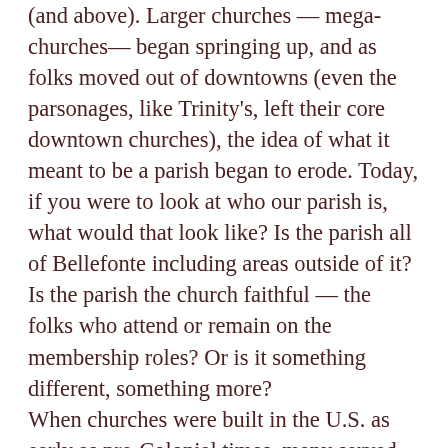(and above). Larger churches — mega-churches— began springing up, and as folks moved out of downtowns (even the parsonages, like Trinity's, left their core downtown churches), the idea of what it meant to be a parish began to erode. Today, if you were to look at who our parish is, what would that look like? Is the parish all of Bellefonte including areas outside of it? Is the parish the church faithful — the folks who attend or remain on the membership roles? Or is it something different, something more?
When churches were built in the U.S. as early as pre-Colonial times, many served as the governance of the town or village — even doling out land to